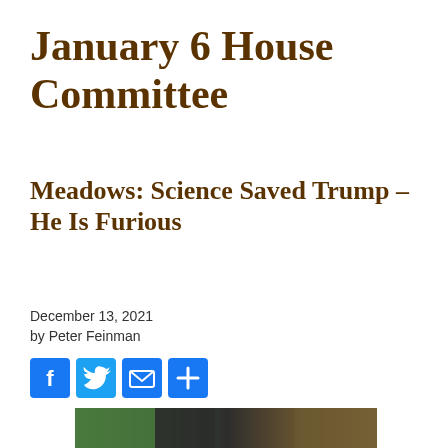January 6 House Committee
Meadows: Science Saved Trump – He Is Furious
December 13, 2021
by Peter Feinman
[Figure (infographic): Social sharing buttons: Facebook (blue), Twitter (blue bird), Email (envelope), More (+) symbols]
[Figure (photo): A dark photo showing a figure in a dark suit from behind, with green and multicolored background elements, appears to be a video game or TV still.]